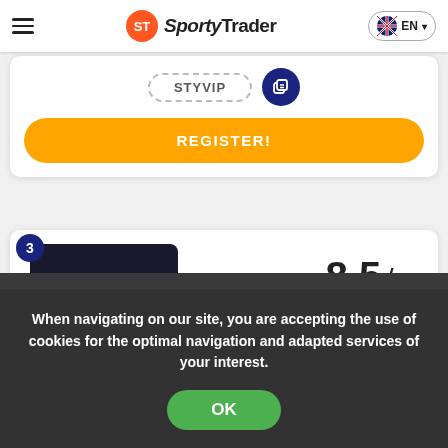SportyTrader EN
[Figure (screenshot): STYVIP promo code badge with copy icon]
REGISTER!
[Figure (logo): Melbet logo on dark background, ranked #3, rating 8.5/10]
8.5/ 10
Melbet detail
When navigating on our site, you are accepting the use of cookies for the optimal navigation and adapted services of your interest.
OK